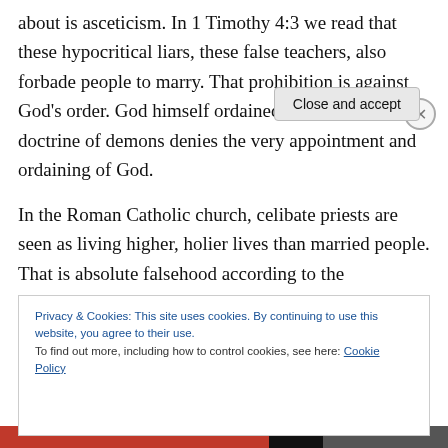about is asceticism. In 1 Timothy 4:3 we read that these hypocritical liars, these false teachers, also forbade people to marry. That prohibition is against God's order. God himself ordained marriage, so this doctrine of demons denies the very appointment and ordaining of God.
In the Roman Catholic church, celibate priests are seen as living higher, holier lives than married people. That is absolute falsehood according to the Scriptures. That does not mean that marriage will solve all problems, but to say that the celibate state is a holier state than the married
Privacy & Cookies: This site uses cookies. By continuing to use this website, you agree to their use.
To find out more, including how to control cookies, see here: Cookie Policy
Close and accept